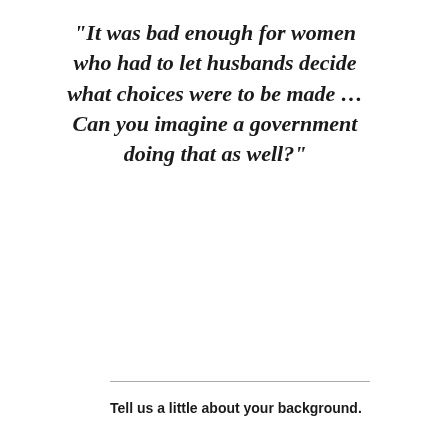“It was bad enough for women who had to let husbands decide what choices were to be made … Can you imagine a government doing that as well?”
Tell us a little about your background.